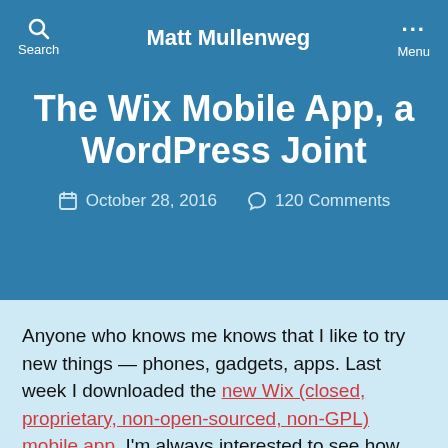Search   Matt Mullenweg   Menu
The Wix Mobile App, a WordPress Joint
October 28, 2016   120 Comments
Anyone who knows me knows that I like to try new things — phones, gadgets, apps. Last week I downloaded the new Wix (closed, proprietary, non-open-sourced, non-GPL) mobile app. I'm always interested to see how others tackle the challenge of building and editing websites from a mobile device.